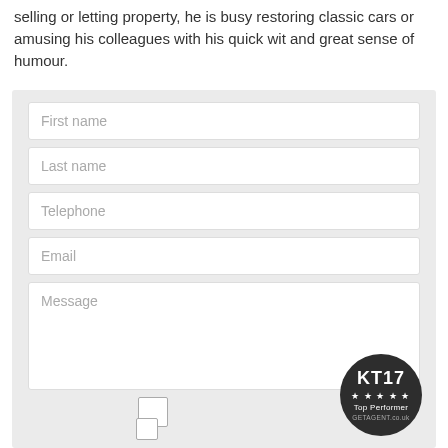selling or letting property, he is busy restoring classic cars or amusing his colleagues with his quick wit and great sense of humour.
[Figure (other): A contact form with fields for First name, Last name, Telephone, Email, and Message, followed by a checkbox and text about email subscriptions, and a KT17 Top Performer badge from getagent.co.uk]
Get emails with the latest news and information on the local market, our products and services. You can unsubscribe